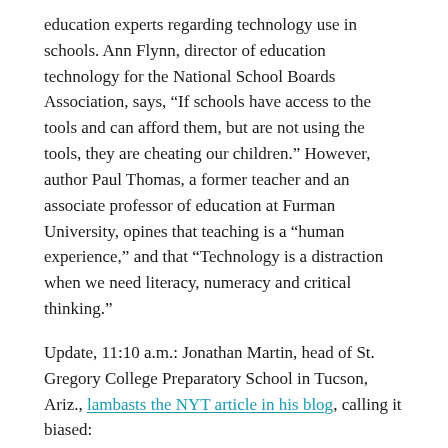education experts regarding technology use in schools. Ann Flynn, director of education technology for the National School Boards Association, says, “If schools have access to the tools and can afford them, but are not using the tools, they are cheating our children.” However, author Paul Thomas, a former teacher and an associate professor of education at Furman University, opines that teaching is a “human experience,” and that “Technology is a distraction when we need literacy, numeracy and critical thinking.”
Update, 11:10 a.m.: Jonathan Martin, head of St. Gregory College Preparatory School in Tucson, Ariz., lambasts the NYT article in his blog, calling it biased:
I think it is a very disappointing bit of snarky